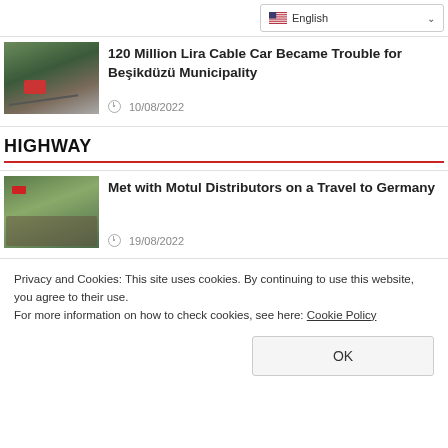[Figure (screenshot): English language selector dropdown button with US flag]
[Figure (photo): Cable car thumbnail photo showing mountain and cable car]
120 Million Lira Cable Car Became Trouble for Beşikdüzü Municipality
10/08/2022
HIGHWAY
[Figure (photo): Group photo of people at Motul distributor event in Germany]
Met with Motul Distributors on a Travel to Germany
19/08/2022
[Figure (photo): Partially visible thumbnail for Mollaköy Bridge article]
Tender for Mollaköy Bridge Is Going Again
Privacy and Cookies: This site uses cookies. By continuing to use this website, you agree to their use.
For more information on how to check cookies, see here: Cookie Policy